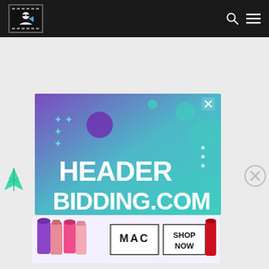[Figure (screenshot): Dark navigation header bar with logo (illustrated person with sunglasses), search icon, and hamburger menu icon on right]
[Figure (screenshot): HeaderBidding.com advertisement banner with purple-to-teal gradient background, plus signs, circles, and large white text reading HEADER BIDDING.COM with an X close button]
[Figure (screenshot): MAC cosmetics advertisement showing lipsticks in purple, pink, and red colors with MAC logo and SHOP NOW text in a bordered box]
[Figure (illustration): Feather/filter icon in teal/cyan color on the left side]
[Figure (illustration): Circle X close button icon in gray on the right side]